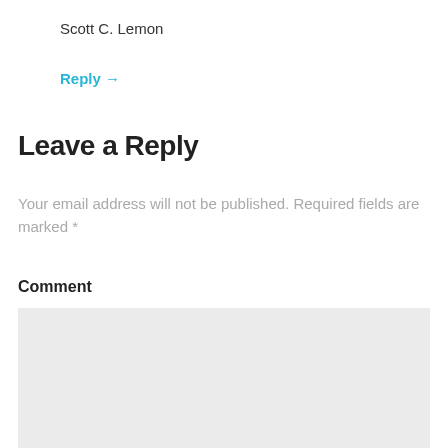Scott C. Lemon
Reply →
Leave a Reply
Your email address will not be published. Required fields are marked *
Comment